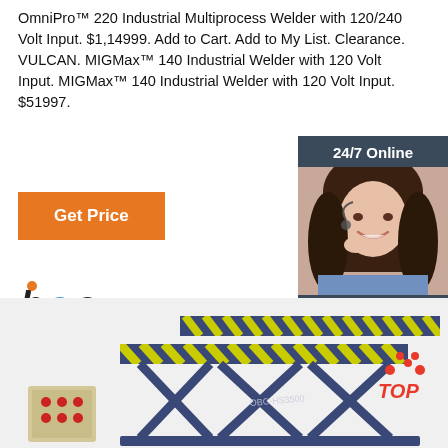OmniPro™ 220 Industrial Multiprocess Welder with 120/240 Volt Input. $1,14999. Add to Cart. Add to My List. Clearance. VULCAN. MIGMax™ 140 Industrial Welder with 120 Volt Input. MIGMax™ 140 Industrial Welder with 120 Volt Input. $51997.
[Figure (infographic): Orange 'Get Price' button]
[Figure (infographic): Sidebar with '24/7 Online' header, photo of smiling customer service woman with headset, 'Click here for free chat!' text, and orange 'QUOTATION' button]
[Figure (logo): OEC/bec logo with Chinese characters 欧霸客]
[Figure (photo): Industrial scissor lift table (OBC-HS3500) in blue/dark color with yellow-black warning stripes, partial view of control box at bottom left, and red 'TOP' badge at bottom right]